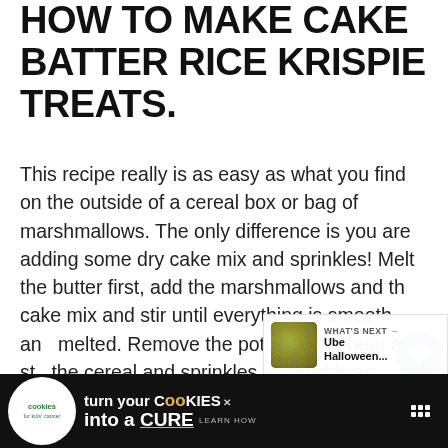HOW TO MAKE CAKE BATTER RICE KRISPIE TREATS.
This recipe really is as easy as what you find on the outside of a cereal box or bag of marshmallows. The only difference is you are adding some dry cake mix and sprinkles! Melt the butter first, add the marshmallows and the cake mix and stir until everything is smooth and melted. Remove the pot from the heat and stir the cereal and sprinkles as quickly as possible. Once these treats start cooling it gets harder to stir and remove from the pot!
[Figure (other): Advertisement banner: cookies for kids cancer - turn your cookies into a CURE, LEARN HOW]